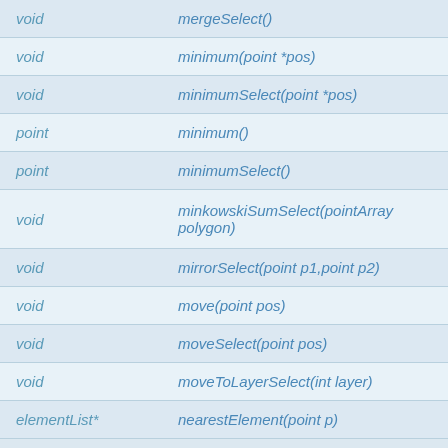| Return type | Method |
| --- | --- |
| void | mergeSelect() |
| void | minimum(point *pos) |
| void | minimumSelect(point *pos) |
| point | minimum() |
| point | minimumSelect() |
| void | minkowskiSumSelect(pointArray polygon) |
| void | mirrorSelect(point p1,point p2) |
| void | move(point pos) |
| void | moveSelect(point pos) |
| void | moveToLayerSelect(int layer) |
| elementList* | nearestElement(point p) |